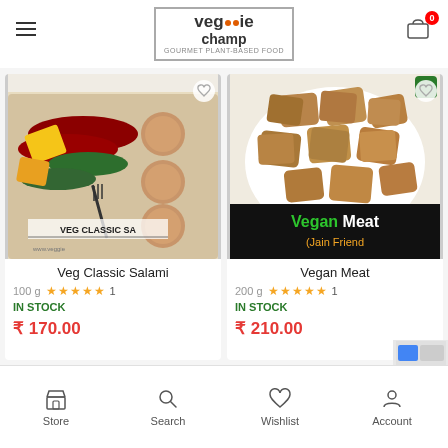veggie champ
[Figure (photo): Product photo of Veg Classic Salami showing a platter with colorful vegetables, crackers, and a fork. Label reads VEG CLASSIC SA]
Veg Classic Salami
100 g  ★★★★★ 1
IN STOCK
₹ 170.00
[Figure (photo): Product photo of Vegan Meat showing golden-brown textured soy chunks on a white plate with a black banner reading Vegan Meat (Jain Friend)]
Vegan Meat
200 g  ★★★★★ 1
IN STOCK
₹ 210.00
Store  Search  Wishlist  Account